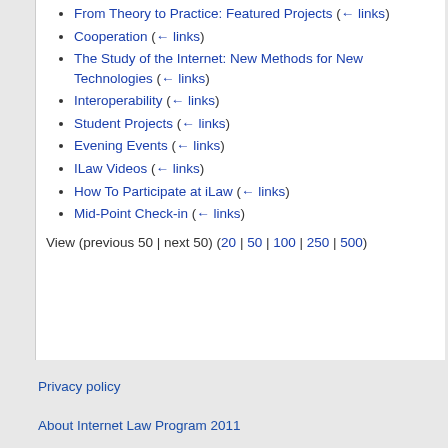From Theory to Practice: Featured Projects  (← links)
Cooperation  (← links)
The Study of the Internet: New Methods for New Technologies  (← links)
Interoperability  (← links)
Student Projects  (← links)
Evening Events  (← links)
ILaw Videos  (← links)
How To Participate at iLaw  (← links)
Mid-Point Check-in  (← links)
View (previous 50 | next 50) (20 | 50 | 100 | 250 | 500)
Privacy policy
About Internet Law Program 2011
Disclaimers